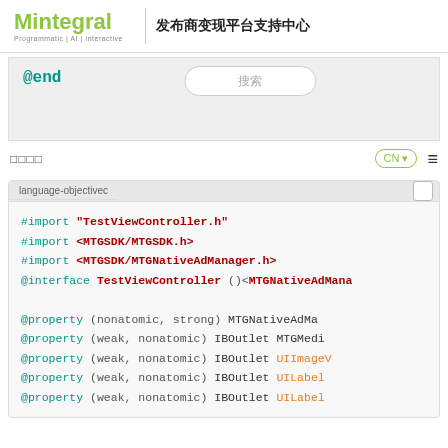Mintegral Programmatic | AI | Interactive 发布商变现平台支持中心
@end
搜索
□□□□
CN ▼
[Figure (screenshot): Hamburger menu icon]
language-objectivec
#import "TestViewController.h"
#import <MTGSDK/MTGSDK.h>
#import <MTGSDK/MTGNativeAdManager.h>
@interface TestViewController ()<MTGNativeAdMana

@property (nonatomic, strong) MTGNativeAdMa
@property (weak, nonatomic) IBOutlet MTGMedi
@property (weak, nonatomic) IBOutlet UIImageV
@property (weak, nonatomic) IBOutlet UILabel
@property (weak, nonatomic) IBOutlet UILabel